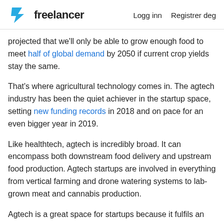freelancer  Logg inn  Registrer deg
projected that we'll only be able to grow enough food to meet half of global demand by 2050 if current crop yields stay the same.
That's where agricultural technology comes in. The agtech industry has been the quiet achiever in the startup space, setting new funding records in 2018 and on pace for an even bigger year in 2019.
Like healthtech, agtech is incredibly broad. It can encompass both downstream food delivery and upstream food production. Agtech startups are involved in everything from vertical farming and drone watering systems to lab-grown meat and cannabis production.
Agtech is a great space for startups because it fulfils an